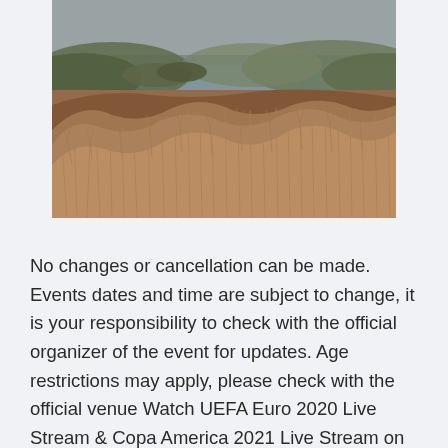[Figure (photo): Outdoor landscape photo showing dry brown grass and shrubs in the foreground with a lake or river and hills visible in the background. The image has a warm, slightly sepia-tinted tone.]
No changes or cancellation can be made. Events dates and time are subject to change, it is your responsibility to check with the official organizer of the event for updates. Age restrictions may apply, please check with the official venue Watch UEFA Euro 2020 Live Stream & Copa America 2021 Live Stream on totalSPORTEK in June/July 2021. Match 1: Luxembourg vs Portugal (19:45 uk time) Live Streaming links for todays game